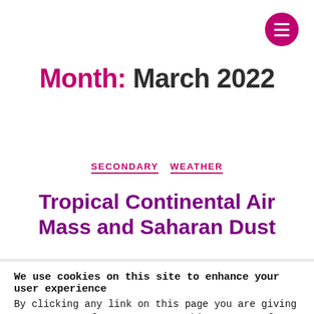[Figure (other): Pink circular menu/hamburger button with three white horizontal lines]
Month: March 2022
SECONDARY  WEATHER
Tropical Continental Air Mass and Saharan Dust
We use cookies on this site to enhance your user experience
By clicking any link on this page you are giving your consent for us to set cookies. More Info
OK, I agree   No, thanks